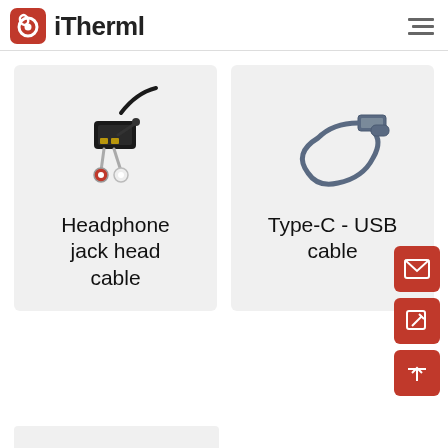iTherml
[Figure (photo): Headphone jack head cable adapter with black connector, audio jack, and red/white RCA connectors]
Headphone jack head cable
[Figure (photo): Type-C to USB cable, dark blue/grey color, looped shape showing both connectors]
Type-C - USB cable